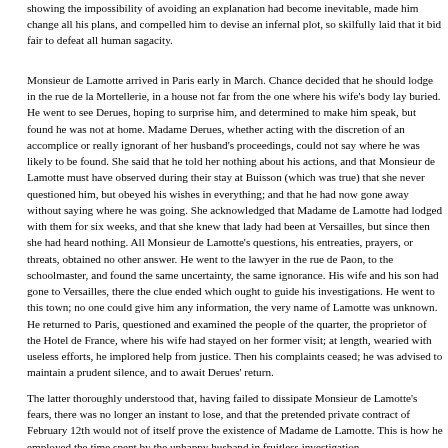showing the impossibility of avoiding an explanation had become inevitable, made him change all his plans, and compelled him to devise an infernal plot, so skilfully laid that it bid fair to defeat all human sagacity.
Monsieur de Lamotte arrived in Paris early in March. Chance decided that he should lodge in the rue de la Mortellerie, in a house not far from the one where his wife's body lay buried. He went to see Derues, hoping to surprise him, and determined to make him speak, but found he was not at home. Madame Derues, whether acting with the discretion of an accomplice or really ignorant of her husband's proceedings, could not say where he was likely to be found. She said that he told her nothing about his actions, and that Monsieur de Lamotte must have observed during their stay at Buisson (which was true) that she never questioned him, but obeyed his wishes in everything; and that he had now gone away without saying where he was going. She acknowledged that Madame de Lamotte had lodged with them for six weeks, and that she knew that lady had been at Versailles, but since then she had heard nothing. All Monsieur de Lamotte's questions, his entreaties, prayers, or threats, obtained no other answer. He went to the lawyer in the rue de Paon, to the schoolmaster, and found the same uncertainty, the same ignorance. His wife and his son had gone to Versailles, there the clue ended which ought to guide his investigations. He went to this town; no one could give him any information, the very name of Lamotte was unknown. He returned to Paris, questioned and examined the people of the quarter, the proprietor of the Hotel de France, where his wife had stayed on her former visit; at length, wearied with useless efforts, he implored help from justice. Then his complaints ceased; he was advised to maintain a prudent silence, and to await Derues' return.
The latter thoroughly understood that, having failed to dissipate Monsieur de Lamotte's fears, there was no longer an instant to lose, and that the pretended private contract of February 12th would not of itself prove the existence of Madame de Lamotte. This is how he employed the time spent by the unhappy husband in fruitless investigation.